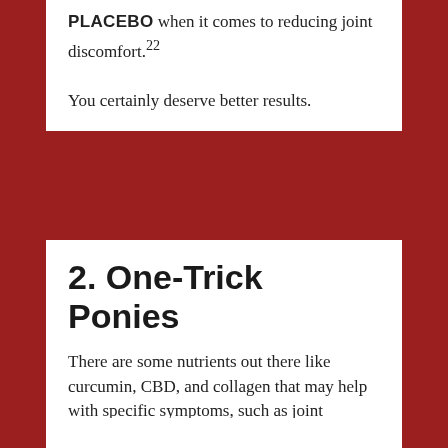PLACEBO when it comes to reducing joint discomfort.22

You certainly deserve better results.
2. One-Trick Ponies
There are some nutrients out there like curcumin, CBD, and collagen that may help with specific symptoms, such as joint discomfort. However, they can be likened to "one-trick ponies" that don't fully tackle all of the problems.